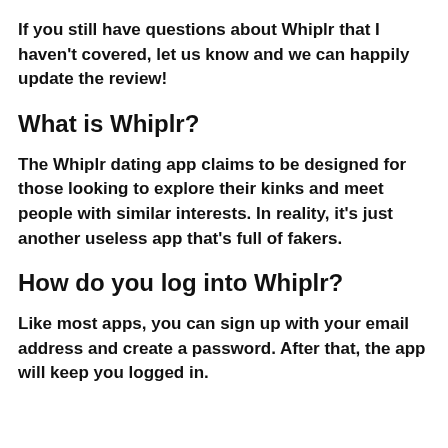If you still have questions about Whiplr that I haven't covered, let us know and we can happily update the review!
What is Whiplr?
The Whiplr dating app claims to be designed for those looking to explore their kinks and meet people with similar interests. In reality, it's just another useless app that's full of fakers.
How do you log into Whiplr?
Like most apps, you can sign up with your email address and create a password. After that, the app will keep you logged in.